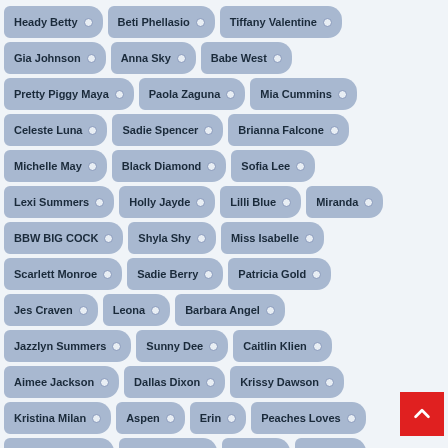Heady Betty
Beti Phellasio
Tiffany Valentine
Gia Johnson
Anna Sky
Babe West
Pretty Piggy Maya
Paola Zaguna
Mia Cummins
Celeste Luna
Sadie Spencer
Brianna Falcone
Michelle May
Black Diamond
Sofia Lee
Lexi Summers
Holly Jayde
Lilli Blue
Miranda
BBW BIG COCK
Shyla Shy
Miss Isabelle
Scarlett Monroe
Sadie Berry
Patricia Gold
Jes Craven
Leona
Barbara Angel
Jazzlyn Summers
Sunny Dee
Caitlin Klien
Aimee Jackson
Dallas Dixon
Krissy Dawson
Kristina Milan
Aspen
Erin
Peaches Loves
Lisa Cummins
Olivia Leigh
Antica
Calista
Kris Kelly
Elen Star
Luscious Little
Virgo Peri...